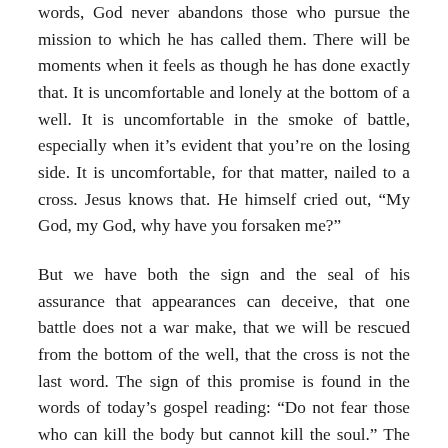words, God never abandons those who pursue the mission to which he has called them. There will be moments when it feels as though he has done exactly that. It is uncomfortable and lonely at the bottom of a well. It is uncomfortable in the smoke of battle, especially when it's evident that you're on the losing side. It is uncomfortable, for that matter, nailed to a cross. Jesus knows that. He himself cried out, “My God, my God, why have you forsaken me?”
But we have both the sign and the seal of his assurance that appearances can deceive, that one battle does not a war make, that we will be rescued from the bottom of the well, that the cross is not the last word. The sign of this promise is found in the words of today’s gospel reading: “Do not fear those who can kill the body but cannot kill the soul.” The seal of this promise is found in the event of Jesus’s resurrection from the dead, which is the reason we are here